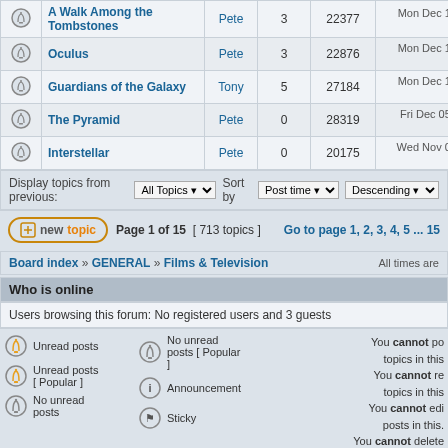|  | Topic | Author | Replies | Views | Last post |
| --- | --- | --- | --- | --- | --- |
|  | A Walk Among the Tombstones | Pete | 3 | 22377 | Mon Dec 15, 2014 3:30 Stu → |
|  | Oculus | Pete | 3 | 22876 | Mon Dec 15, 2014 3:28 Stu → |
|  | Guardians of the Galaxy | Tony | 5 | 27184 | Mon Dec 15, 2014 3:25 Stu → |
|  | The Pyramid | Pete | 0 | 28319 | Fri Dec 05, 2014 12:23 Pete → |
|  | Interstellar | Pete | 0 | 20175 | Wed Nov 05, 2014 3:20 Pete → |
Display topics from previous: All Topics ▾  Sort by  Post time ▾  Descending ▾
new topic   Page 1 of 15  [ 713 topics ]   Go to page 1, 2, 3, 4, 5 ... 15
Board index » GENERAL » Films & Television   All times are
Who is online
Users browsing this forum: No registered users and 3 guests
Unread posts
No unread posts
Announcement
Unread posts [ Popular ]
No unread posts [ Popular ]
Sticky
You cannot post topics in this. You cannot reply topics in this. You cannot edit posts in this. You cannot delete posts in this